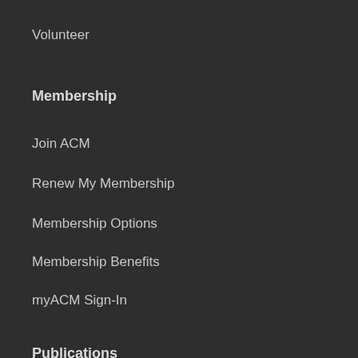Volunteer
Membership
Join ACM
Renew My Membership
Membership Options
Membership Benefits
myACM Sign-In
Publications
About Publications
Digital Library